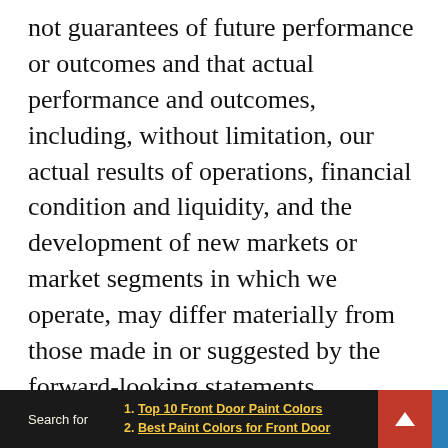not guarantees of future performance or outcomes and that actual performance and outcomes, including, without limitation, our actual results of operations, financial condition and liquidity, and the development of new markets or market segments in which we operate, may differ materially from those made in or suggested by the forward-looking statements contained in this news release. For a discussion of other important factors that could cause Frontdoor's results to differ materially from those expressed in, or implied by, the forward-looking statements included in this document, you should refer to the risks and uncertainties detailed from time to time in Frontdoor's periodic reports
1. Top 10 Front Door Paint Colors
2. Best Paint Colors for Front Door